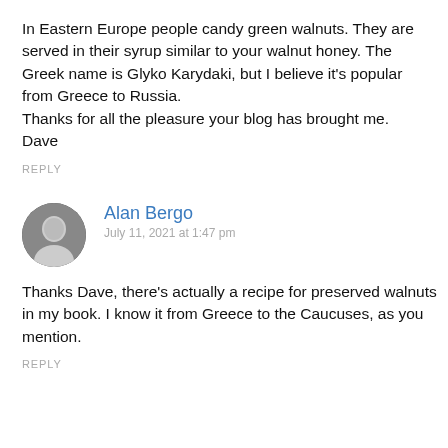In Eastern Europe people candy green walnuts. They are served in their syrup similar to your walnut honey. The Greek name is Glyko Karydaki, but I believe it's popular from Greece to Russia.
Thanks for all the pleasure your blog has brought me.
Dave
REPLY
Alan Bergo
July 11, 2021 at 1:47 pm
Thanks Dave, there's actually a recipe for preserved walnuts in my book. I know it from Greece to the Caucuses, as you mention.
REPLY